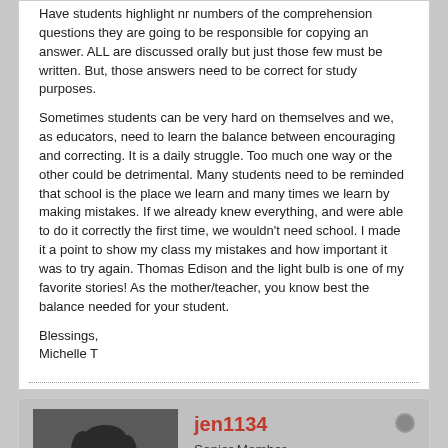Have students highlight nr numbers of the comprehension questions they are going to be responsible for copying an answer. ALL are discussed orally but just those few must be written. But, those answers need to be correct for study purposes.
Sometimes students can be very hard on themselves and we, as educators, need to learn the balance between encouraging and correcting. It is a daily struggle. Too much one way or the other could be detrimental. Many students need to be reminded that school is the place we learn and many times we learn by making mistakes. If we already knew everything, and were able to do it correctly the first time, we wouldn't need school. I made it a point to show my class my mistakes and how important it was to try again. Thomas Edison and the light bulb is one of my favorite stories! As the mother/teacher, you know best the balance needed for your student.
Blessings,
Michelle T
jen1134
Senior Member
Join Date: Jun 2015   Posts: 2329
11-25-2017, 01:12 PM
#8
Re: Checking and correcting work